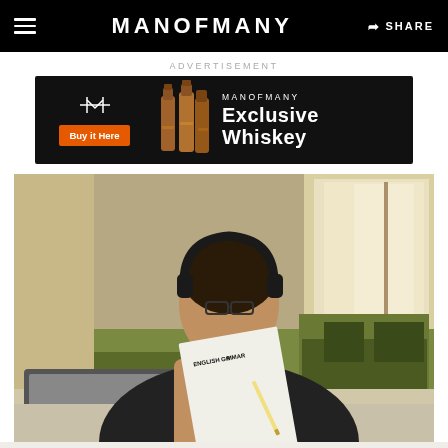MANOFMANY   SHARE
ADVERTISEMENT
[Figure (illustration): MANOFMANY Exclusive Whiskey advertisement banner with orange Buy it Here button and whiskey bottle images on black background]
[Figure (photo): Young man wearing headphones and glasses, studying an English Grammar sheet at a desk with a laptop in a modern room with green furniture]